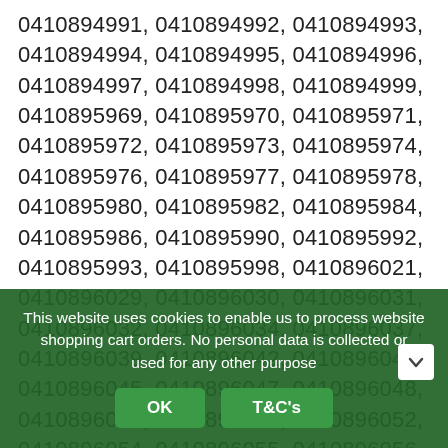0410894991, 0410894992, 0410894993, 0410894994, 0410894995, 0410894996, 0410894997, 0410894998, 0410894999, 0410895969, 0410895970, 0410895971, 0410895972, 0410895973, 0410895974, 0410895976, 0410895977, 0410895978, 0410895980, 0410895982, 0410895984, 0410895986, 0410895990, 0410895992, 0410895993, 0410895998, 0410896021, 0410896029, 0410896030, 0410896031, 0410896032, 0410896034, 0410896037, 0410896039, 0410896042, 0410896044, 0410896045, 0410896047, 0410896048, 0410896049, 0410896050, 0410896052, 0410896054, 0410896055, 0410896056, 0410896057, 0410896059, 0410896061, 0410896062, 0410896063, 0410896064, 0410896067, 0410896068, 0410896069, 0410896070, 0410896071, 0410896072, 0410896073, 0410896074, 0410896075, 0410896079, 0410896080, 0410896081, 0410896082, 0410896083, 0410896084, 0410896085, 0410896086, 0410896087, 0410896088, 0410896089, 0410896090, 0410896091, 0410896092
This website uses cookies to enable us to process website shopping cart orders. No personal data is collected or used for any other purpose
OK    T&C's